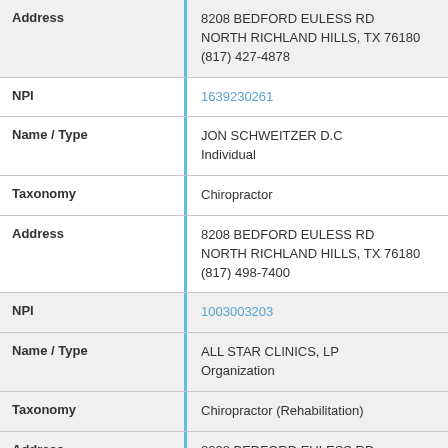| Field | Value |
| --- | --- |
| Address | 8208 BEDFORD EULESS RD
NORTH RICHLAND HILLS, TX 76180
(817) 427-4878 |
| NPI | 1639230261 |
| Name / Type | JON SCHWEITZER D.C
Individual |
| Taxonomy | Chiropractor |
| Address | 8208 BEDFORD EULESS RD
NORTH RICHLAND HILLS, TX 76180
(817) 498-7400 |
| NPI | 1003003203 |
| Name / Type | ALL STAR CLINICS, LP
Organization |
| Taxonomy | Chiropractor (Rehabilitation) |
| Address | 8208 BEDFORD EULESS RD
NORTH RICHLAND HILLS, TX 76180
(817) 498-7400 |
| NPI | 1427296912 |
| Name / Type | MID-CITIES MEDICAL INSTITUTE, PLLC
Organization |